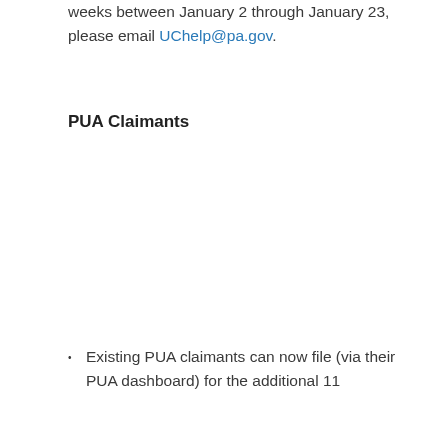weeks between January 2 through January 23, please email UChelp@pa.gov.
PUA Claimants
Existing PUA claimants can now file (via their PUA dashboard) for the additional 11